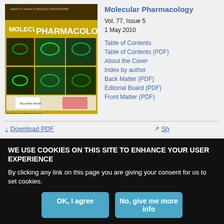[Figure (photo): Cover of Molecular Pharmacology journal, Vol. 77 Issue 5, yellow background with microscopy images of green fluorescent cells and a diagram of blood-brain barrier]
Molecular Pharmacology
Vol. 77, Issue 5
1 May 2010
Table of Contents
Table of Contents (PDF)
About the Cover
Index by author
Back Matter (PDF)
Editorial Board (PDF)
Front Matter (PDF)
Download PDF  Share
WE USE COOKIES ON THIS SITE TO ENHANCE YOUR USER EXPERIENCE
By clicking any link on this page you are giving your consent for us to set cookies.
OK, I agree
No, give me more info